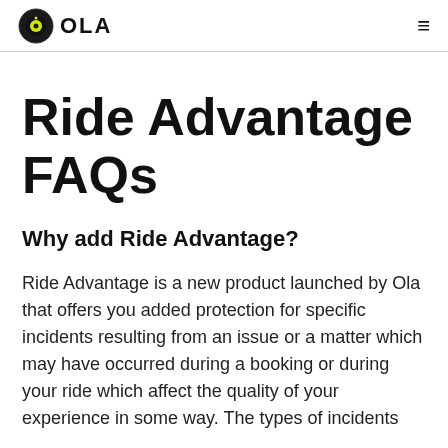OLA
Ride Advantage FAQs
Why add Ride Advantage?
Ride Advantage is a new product launched by Ola that offers you added protection for specific incidents resulting from an issue or a matter which may have occurred during a booking or during your ride which affect the quality of your experience in some way. The types of incidents